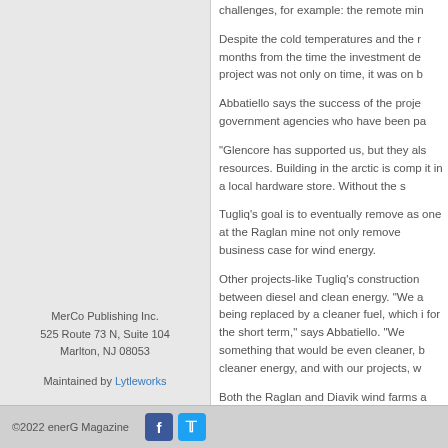challenges, for example: the remote min
Despite the cold temperatures and the r months from the time the investment de project was not only on time, it was on b
Abbatiello says the success of the proje government agencies who have been pa
"Glencore has supported us, but they als resources. Building in the arctic is comp it in a local hardware store. Without the s
Tugliq's goal is to eventually remove as one at the Raglan mine not only remove business case for wind energy.
Other projects-like Tugliq's construction between diesel and clean energy. "We a being replaced by a cleaner fuel, which i for the short term," says Abbatiello. "We something that would be even cleaner, b cleaner energy, and with our projects, w
Both the Raglan and Diavik wind farms a arctic and are the cheapest way to prod remote location.
MerCo Publishing Inc.
525 Route 73 N, Suite 104
Marlton, NJ 08053
Maintained by Lytleworks
©2022 enerG Magazine